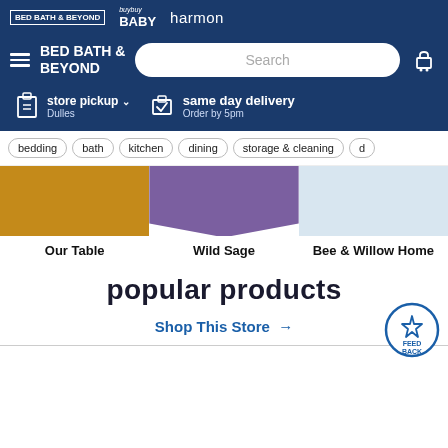BED BATH & BEYOND | buybuy BABY | harmon
[Figure (screenshot): Bed Bath & Beyond website header with logo, search bar, store pickup and same day delivery options]
bedding
bath
kitchen
dining
storage & cleaning
Our Table
Wild Sage
Bee & Willow Home
popular products
Shop This Store →